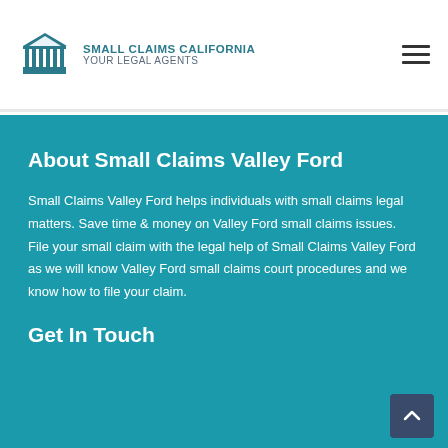SMALL CLAIMS CALIFORNIA YOUR LEGAL AGENTS
About Small Claims Valley Ford
Small Claims Valley Ford helps individuals with small claims legal matters. Save time & money on Valley Ford small claims issues. File your small claim with the legal help of Small Claims Valley Ford as we will know Valley Ford small claims court procedures and we know how to file your claim.
Get In Touch